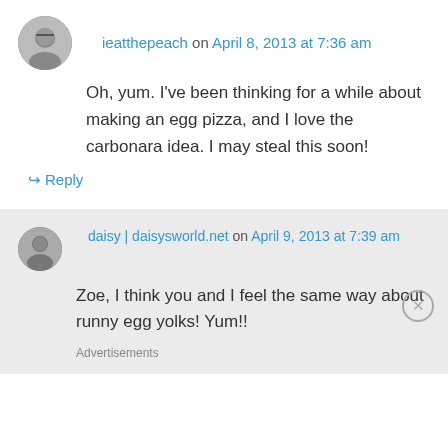ieatthepeach on April 8, 2013 at 7:36 am
Oh, yum. I've been thinking for a while about making an egg pizza, and I love the carbonara idea. I may steal this soon!
↳ Reply
daisy | daisysworld.net on April 9, 2013 at 7:39 am
Zoe, I think you and I feel the same way about runny egg yolks! Yum!!
Advertisements